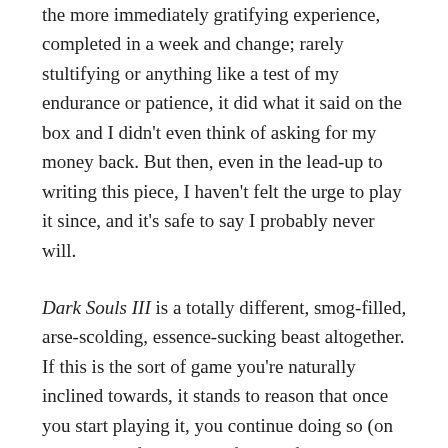the more immediately gratifying experience, completed in a week and change; rarely stultifying or anything like a test of my endurance or patience, it did what it said on the box and I didn't even think of asking for my money back. But then, even in the lead-up to writing this piece, I haven't felt the urge to play it since, and it's safe to say I probably never will.
Dark Souls III is a totally different, smog-filled, arse-scolding, essence-sucking beast altogether. If this is the sort of game you're naturally inclined towards, it stands to reason that once you start playing it, you continue doing so (on some level) for the rest of your life. I'll never truly be rid of it, such are the indelible marks it's flayed into my being. When I'm moved to